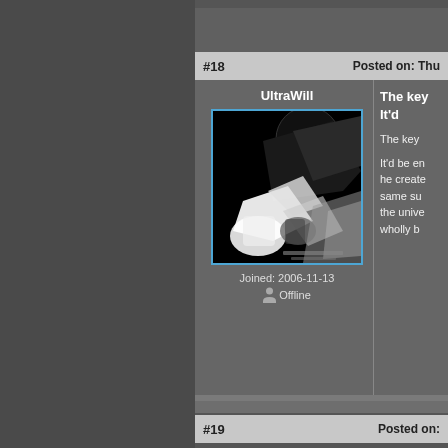#18   Posted on: Thu
UltraWill
[Figure (photo): Black and white anime-style avatar image showing a character with dramatic lighting against black background]
Joined: 2006-11-13
Offline
The key It'd
The key
It'd be en he create same su the unive wholly b
#19   Posted on: